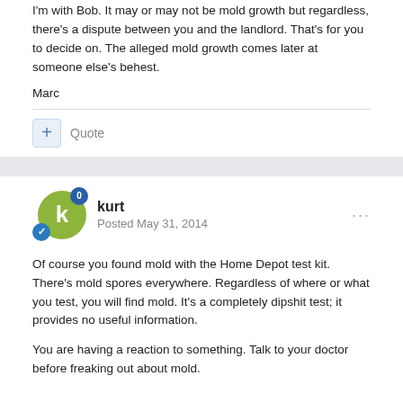I'm with Bob. It may or may not be mold growth but regardless, there's a dispute between you and the landlord. That's for you to decide on. The alleged mold growth comes later at someone else's behest.
Marc
+ Quote
kurt
Posted May 31, 2014
Of course you found mold with the Home Depot test kit. There's mold spores everywhere. Regardless of where or what you test, you will find mold. It's a completely dipshit test; it provides no useful information.
You are having a reaction to something. Talk to your doctor before freaking out about mold.